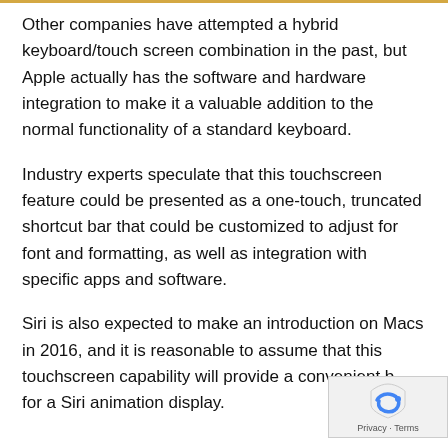Other companies have attempted a hybrid keyboard/touch screen combination in the past, but Apple actually has the software and hardware integration to make it a valuable addition to the normal functionality of a standard keyboard.
Industry experts speculate that this touchscreen feature could be presented as a one-touch, truncated shortcut bar that could be customized to adjust for font and formatting, as well as integration with specific apps and software.
Siri is also expected to make an introduction on Macs in 2016, and it is reasonable to assume that this touchscreen capability will provide a convenient base for a Siri animation display.